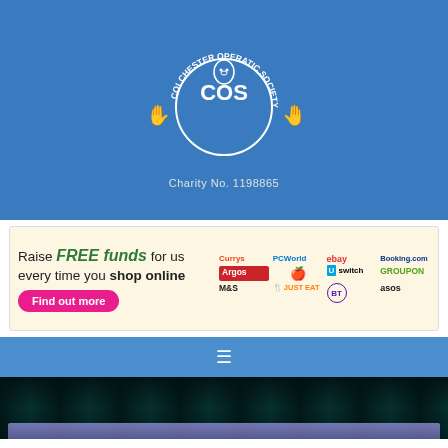[Figure (logo): Colchester Operatic Society circular logo in white on blue background with bird character, text around the circle reading 'COLCHESTER OPERATIC SOCIETY', with decorative hands on either side]
Charity No. 1198865
[Figure (infographic): Easyfundraising banner: 'Raise FREE funds for us every time you shop online' with pink 'Find out more' button, and logos for Currys, PC World, eBay, Booking.com, Argos, Apple, Uswitch, Groupon, M&S, Just Eat, BT, ASOS]
[Figure (infographic): Navigation bar with hamburger menu icon (three horizontal lines) on blue background]
[Figure (photo): Dark teal/black curtain or stage background with a purple/blue translucent horizontal bar at the bottom]
This website uses cookies. By continuing to use this site, you accept our use of cookies.  Learn more
ACCEPT